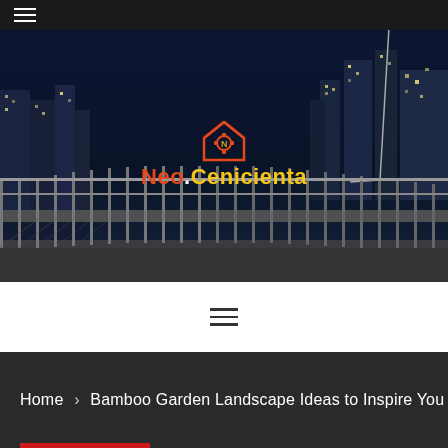[Figure (photo): Night cityscape with bridge railing in foreground, city skyline with lit buildings in background, dark blue night sky]
[Figure (logo): Neo.Cenicienta logo with house/gear icon above the text in red-orange and yellow colors]
Home > Bamboo Garden Landscape Ideas to Inspire You